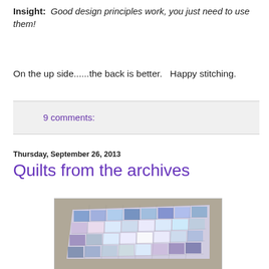Insight: Good design principles work, you just need to use them!
On the up side......the back is better.   Happy stitching.
9 comments:
Thursday, September 26, 2013
Quilts from the archives
[Figure (photo): A patchwork quilt with blue, purple, and pastel colors laid flat on a surface, photographed from an angle showing the grid pattern of fabric squares.]